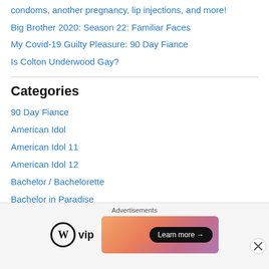condoms, another pregnancy, lip injections, and more!
Big Brother 2020: Season 22: Familiar Faces
My Covid-19 Guilty Pleasure: 90 Day Fiance
Is Colton Underwood Gay?
Categories
90 Day Fiance
American Idol
American Idol 11
American Idol 12
Bachelor / Bachelorette
Bachelor in Paradise
Bachelor Pad Season 3
Bachelor Season 16: Ben Flajnik
Bachelor Season 17: Sean Lowe
[Figure (other): WordPress VIP advertisement banner with 'Learn more' button and close button]